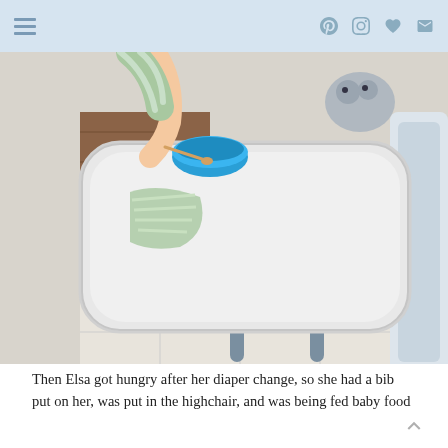Navigation header with hamburger menu and social icons (Pinterest, Instagram, heart/favorites, email)
[Figure (photo): Overhead view of a baby highchair with a large rounded gray plastic tray. A child's arm is visible at the top reaching toward a blue bowl. A striped cloth bib or burp cloth is on the tray. The chair has gray metal legs on a white tile floor. Wooden flooring and a stuffed animal are visible in the background.]
Then Elsa got hungry after her diaper change, so she had a bib put on her, was put in the highchair, and was being fed baby food